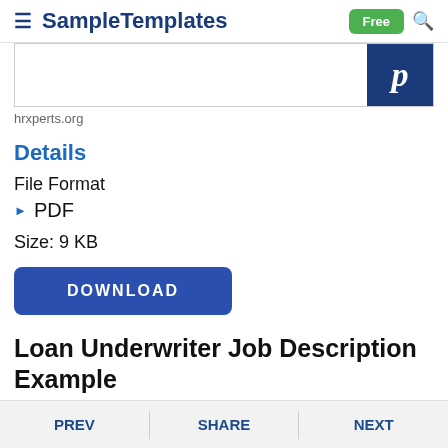SampleTemplates | Free
[Figure (screenshot): Preview image strip showing a partial document thumbnail with a blue P logo box on the right]
hrxperts.org
Details
File Format
PDF
Size: 9 KB
DOWNLOAD
Loan Underwriter Job Description Example
PREV   SHARE   NEXT